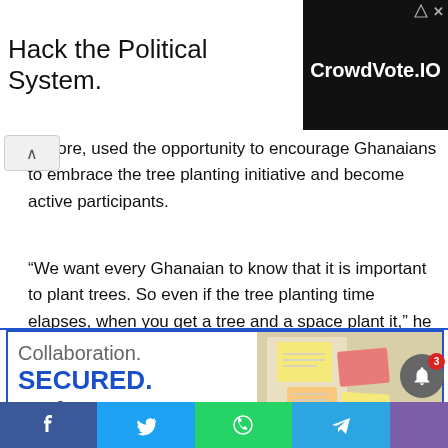[Figure (screenshot): Top advertisement banner with headline 'Hack the Political System.' on white background left, and 'CrowdVote.IO' in white text on black background right.]
erefore, used the opportunity to encourage Ghanaians to embrace the tree planting initiative and become active participants.
“We want every Ghanaian to know that it is important to plant trees. So even if the tree planting time elapses, when you get a tree and a space plant it,” he encouraged.
[Figure (screenshot): Bottom advertisement banner with blue border showing 'Collaboration. SECURED.' text on left and photo of sticky notes on a board on the right. 'Accelerate secure' text partially visible.]
[Figure (screenshot): Social sharing bar at the bottom with Facebook, Twitter, WhatsApp, Telegram, and another button. Notification bell icon with badge showing '3'.]